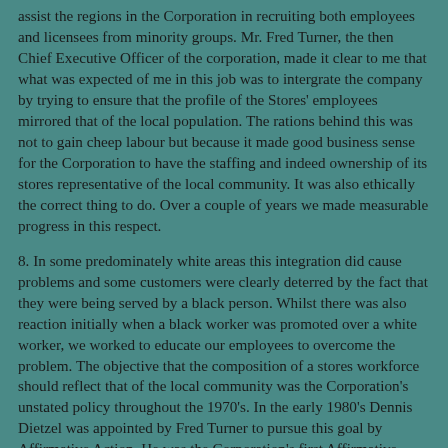assist the regions in the Corporation in recruiting both employees and licensees from minority groups. Mr. Fred Turner, the then Chief Executive Officer of the corporation, made it clear to me that what was expected of me in this job was to intergrate the company by trying to ensure that the profile of the Stores' employees mirrored that of the local population. The rations behind this was not to gain cheep labour but because it made good business sense for the Corporation to have the staffing and indeed ownership of its stores representative of the local community. It was also ethically the correct thing to do. Over a couple of years we made measurable progress in this respect.
8. In some predominately white areas this integration did cause problems and some customers were clearly deterred by the fact that they were being served by a black person. Whilst there was also reaction initially when a black worker was promoted over a white worker, we worked to educate our employees to overcome the problem. The objective that the composition of a stores workforce should reflect that of the local community was the Corporation's unstated policy throughout the 1970's. In the early 1980's Dennis Dietzel was appointed by Fred Turner to pursue this goal by Affirmative Action. He was the Corporation's first Affirmative Action Director. This involved monitoring